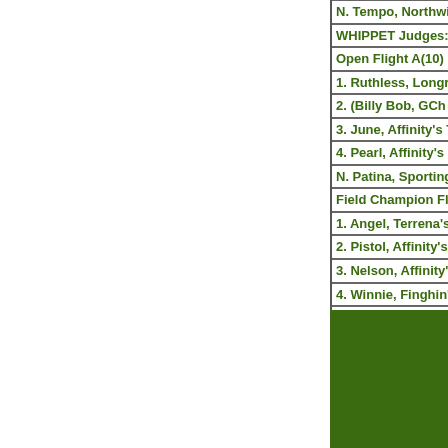N. Tempo, Northwind...
WHIPPET Judges: Ch...
Open Flight A(10)
1. Ruthless, Longrun's...
2. (Billy Bob, GCh Af...
3. June, Affinity's Tim...
4. Pearl, Affinity's Pea...
N. Patina, Sporting Fi...
Field Champion Flight...
1. Angel, Terrena's Cl...
2. Pistol, Affinity's I F...
3. Nelson, Affinity's F...
4. Winnie, Finghin's W...
N. Honey Bear, Wylie...
No Best in Field
[Figure (other): Solid dark green rectangle block at bottom right]